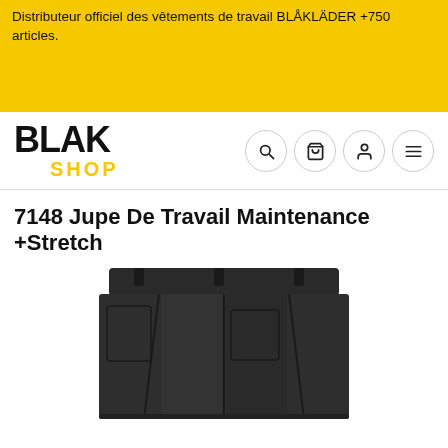Distributeur officiel des vêtements de travail BLÅKLÄDER +750 articles.
[Figure (logo): BLAK SHOP logo with BLAK in bold black text and SHOP in yellow]
[Figure (infographic): Navigation icons: search, cart, user, menu (hamburger) — four circular bordered icons]
7148 Jupe De Travail Maintenance +Stretch
[Figure (photo): Black work skirt product photo showing the waistband and pleated/paneled front of a dark charcoal/black maintenance work skirt]